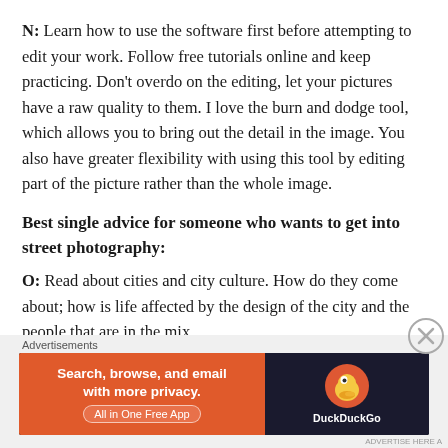N: Learn how to use the software first before attempting to edit your work. Follow free tutorials online and keep practicing. Don't overdo on the editing, let your pictures have a raw quality to them. I love the burn and dodge tool, which allows you to bring out the detail in the image. You also have greater flexibility with using this tool by editing part of the picture rather than the whole image.
Best single advice for someone who wants to get into street photography:
O: Read about cities and city culture. How do they come about; how is life affected by the design of the city and the people that are in the mix.
Advertisements
[Figure (other): DuckDuckGo advertisement banner: orange left panel with text 'Search, browse, and email with more privacy. All in One Free App' and dark right panel with DuckDuckGo duck logo and brand name.]